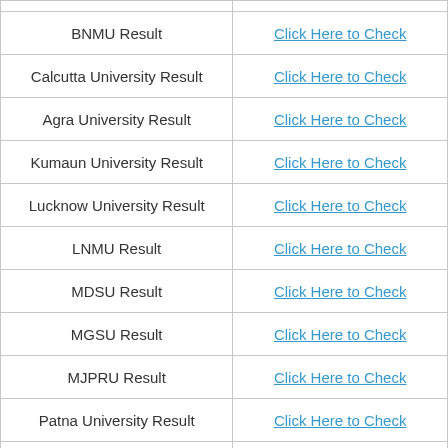| University | Link |
| --- | --- |
| BNMU Result | Click Here to Check |
| Calcutta University Result | Click Here to Check |
| Agra University Result | Click Here to Check |
| Kumaun University Result | Click Here to Check |
| Lucknow University Result | Click Here to Check |
| LNMU Result | Click Here to Check |
| MDSU Result | Click Here to Check |
| MGSU Result | Click Here to Check |
| MJPRU Result | Click Here to Check |
| Patna University Result | Click Here to Check |
| Gorakhpur University Result (partial) | Click Here to Check (partial) |